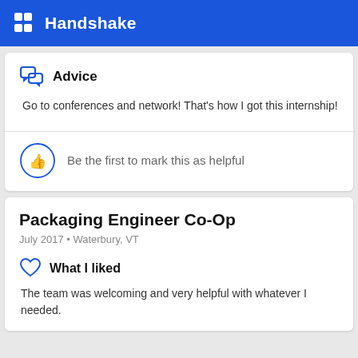Handshake
Advice
Go to conferences and network! That's how I got this internship!
Be the first to mark this as helpful
Packaging Engineer Co-Op
July 2017 • Waterbury, VT
What I liked
The team was welcoming and very helpful with whatever I needed.